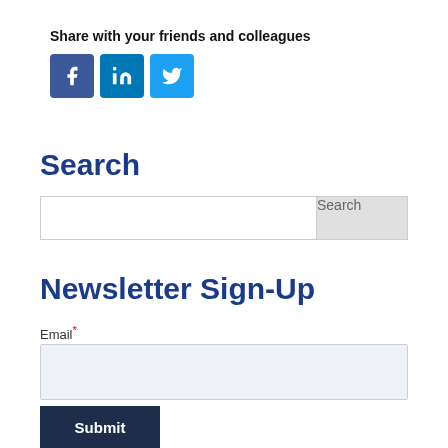Share with your friends and colleagues
[Figure (illustration): Three social media share buttons: Facebook (blue square with 'f'), LinkedIn (blue square with 'in'), Twitter (light blue square with bird icon)]
Search
[Figure (other): Search input field with a Search button on the right]
Newsletter Sign-Up
Email*
[Figure (other): Email input field (light blue background)]
Submit